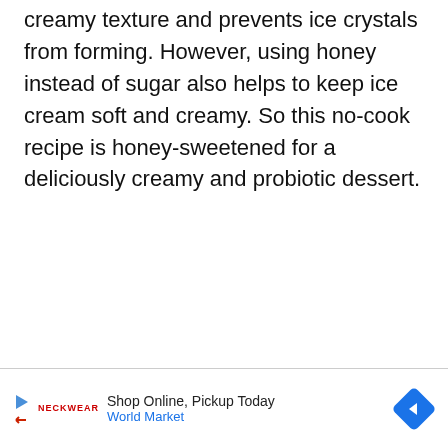creamy texture and prevents ice crystals from forming. However, using honey instead of sugar also helps to keep ice cream soft and creamy. So this no-cook recipe is honey-sweetened for a deliciously creamy and probiotic dessert.
[Figure (other): Advertisement bar: Play button icon, Neckwear brand logo in red, text 'Shop Online, Pickup Today' and 'World Market' in blue, and a blue diamond-shaped navigation arrow icon on the right.]